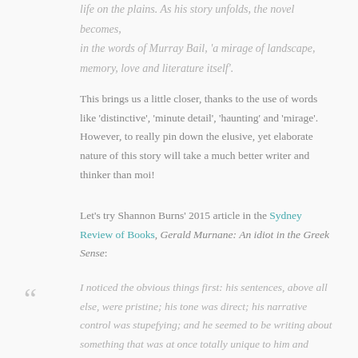life on the plains. As his story unfolds, the novel becomes, in the words of Murray Bail, 'a mirage of landscape, memory, love and literature itself'.
This brings us a little closer, thanks to the use of words like 'distinctive', 'minute detail', 'haunting' and 'mirage'. However, to really pin down the elusive, yet elaborate nature of this story will take a much better writer and thinker than moi!
Let's try Shannon Burns' 2015 article in the Sydney Review of Books, Gerald Murnane: An idiot in the Greek Sense:
I noticed the obvious things first: his sentences, above all else, were pristine; his tone was direct; his narrative control was stupefying; and he seemed to be writing about something that was at once totally unique to him and recognisably Australian. Over the following weeks and